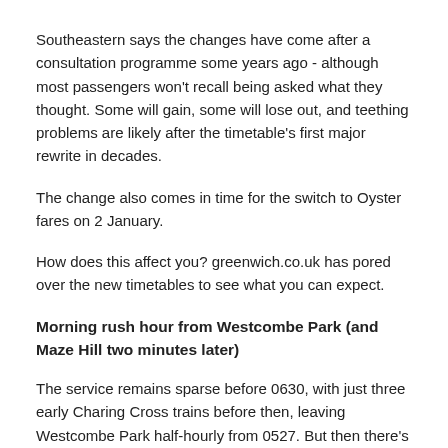Southeastern says the changes have come after a consultation programme some years ago - although most passengers won't recall being asked what they thought. Some will gain, some will lose out, and teething problems are likely after the timetable's first major rewrite in decades.
The change also comes in time for the switch to Oyster fares on 2 January.
How does this affect you? greenwich.co.uk has pored over the new timetables to see what you can expect.
Morning rush hour from Westcombe Park (and Maze Hill two minutes later)
The service remains sparse before 0630, with just three early Charing Cross trains before then, leaving Westcombe Park half-hourly from 0527. But then there's a new train to Cannon Street at 0642, and another at 0658. Then there's a